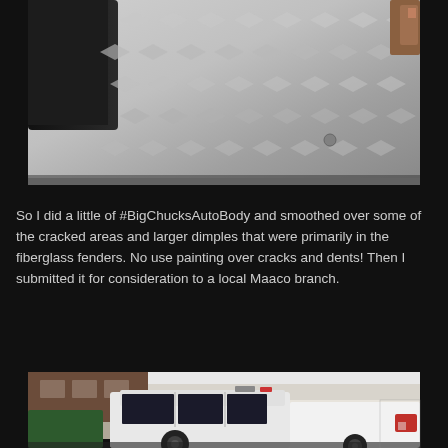[Figure (photo): Close-up photo of diamond-plate aluminum running board or step on a vehicle, with a tire visible on the left side and rust/bracket visible at top right.]
So I did a little of #BigChucksAutoBody and smoothed over some of the cracked areas and larger dimples that were primarily in the fiberglass fenders. No use painting over cracks and dents! Then I submitted it for consideration to a local Maaco branch.
[Figure (photo): Rear three-quarter view of a white custom pickup truck or van conversion parked in front of a building with concrete block and brick walls. Green dumpster visible on left, chain-link fence on right.]